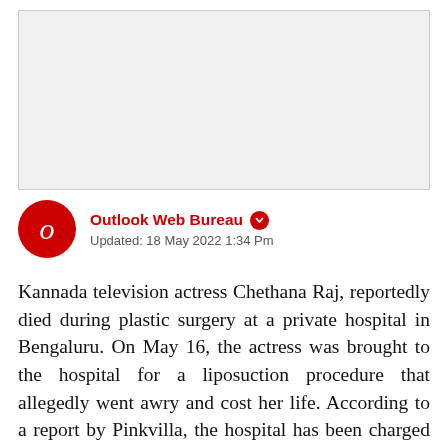[Figure (other): Gray advertisement placeholder box]
Outlook Web Bureau
Updated: 18 May 2022 1:34 Pm
Kannada television actress Chethana Raj, reportedly died during plastic surgery at a private hospital in Bengaluru. On May 16, the actress was brought to the hospital for a liposuction procedure that allegedly went awry and cost her life. According to a report by Pinkvilla, the hospital has been charged by the authorities. Raj's parents had previously claimed that the hospital's carelessness was to blame for their daughter's death.